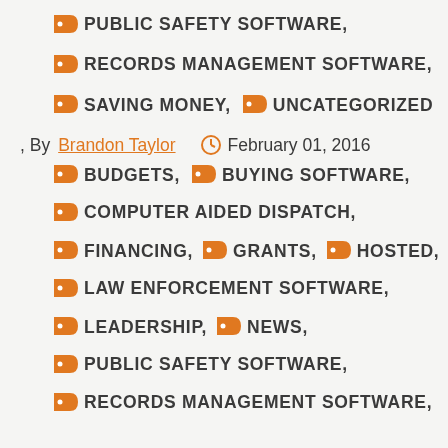PUBLIC SAFETY SOFTWARE,
RECORDS MANAGEMENT SOFTWARE,
SAVING MONEY,  UNCATEGORIZED
, By  Brandon Taylor    February 01, 2016
BUDGETS,  BUYING SOFTWARE,
COMPUTER AIDED DISPATCH,
FINANCING,  GRANTS,  HOSTED,
LAW ENFORCEMENT SOFTWARE,
LEADERSHIP,  NEWS,
PUBLIC SAFETY SOFTWARE,
RECORDS MANAGEMENT SOFTWARE,